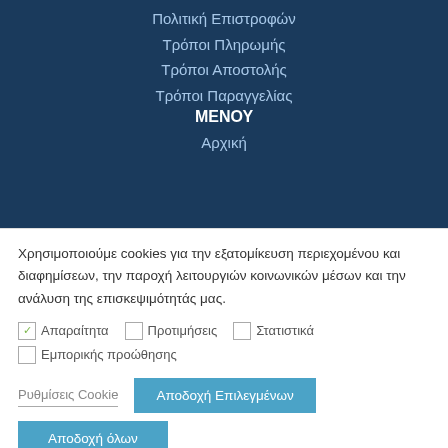Πολιτική Επιστροφών
Τρόποι Πληρωμής
Τρόποι Αποστολής
Τρόποι Παραγγελίας
ΜΕΝΟΥ
Αρχική
Χρησιμοποιούμε cookies για την εξατομίκευση περιεχομένου και διαφημίσεων, την παροχή λειτουργιών κοινωνικών μέσων και την ανάλυση της επισκεψιμότητάς μας.
Απαραίτητα  Προτιμήσεις  Στατιστικά  Εμπορικής προώθησης
Ρυθμίσεις Cookie  Αποδοχή Επιλεγμένων  Αποδοχή όλων